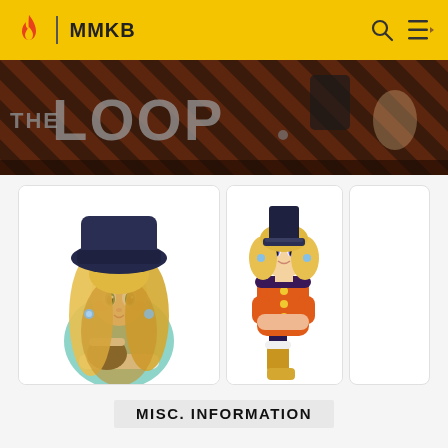MMKB
[Figure (screenshot): Website banner showing 'THE LOOP' game/wiki header with dark red and black diagonal stripes background and cartoon characters]
[Figure (illustration): Large anime-style illustration of a blonde girl with a dark navy hat, teal coat with white fur trim, and black gloves]
[Figure (illustration): Pixel/sprite-style illustration of a blonde girl with a top hat, orange coat, and yellow boots]
[Figure (illustration): Empty white card, third gallery slot]
MISC. INFORMATION